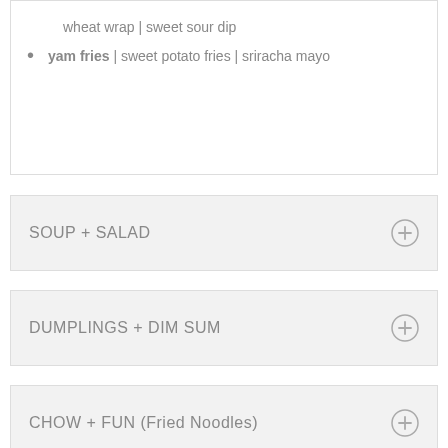wheat wrap | sweet sour dip
yam fries | sweet potato fries | sriracha mayo
SOUP + SALAD
DUMPLINGS + DIM SUM
CHOW + FUN (Fried Noodles)